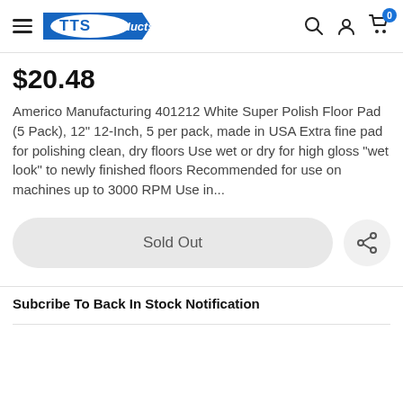TTS products — navigation header with hamburger menu, search, account, and cart (0 items)
$20.48
Americo Manufacturing 401212 White Super Polish Floor Pad (5 Pack), 12" 12-Inch, 5 per pack, made in USA Extra fine pad for polishing clean, dry floors Use wet or dry for high gloss "wet look" to newly finished floors Recommended for use on machines up to 3000 RPM Use in...
Sold Out
Subcribe To Back In Stock Notification